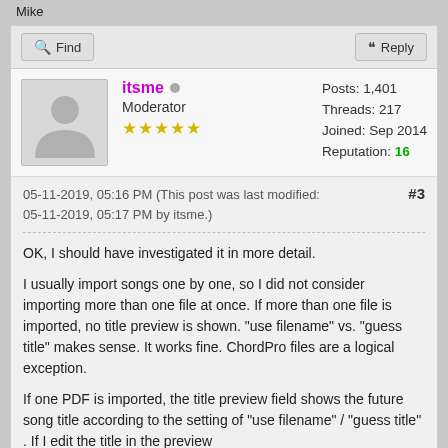Mike
Find | Reply
itsme • Moderator ★★★★★ Posts: 1,401 Threads: 217 Joined: Sep 2014 Reputation: 16
05-11-2019, 05:16 PM (This post was last modified: 05-11-2019, 05:17 PM by itsme.) #3
OK, I should have investigated it in more detail.

I usually import songs one by one, so I did not consider importing more than one file at once. If more than one file is imported, no title preview is shown. "use filename" vs. "guess title" makes sense. It works fine. ChordPro files are a logical exception.

If one PDF is imported, the title preview field shows the future song title according to the setting of "use filename" / "guess title" . If I edit the title in the preview